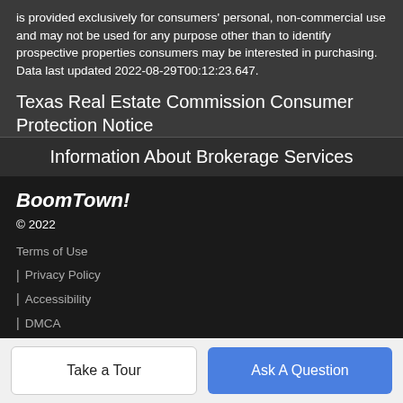is provided exclusively for consumers' personal, non-commercial use and may not be used for any purpose other than to identify prospective properties consumers may be interested in purchasing. Data last updated 2022-08-29T00:12:23.647.
Texas Real Estate Commission Consumer Protection Notice
Information About Brokerage Services
BoomTown!
© 2022
Terms of Use
| Privacy Policy
| Accessibility
| DMCA
| License: Siteman
Take a Tour
Ask A Question